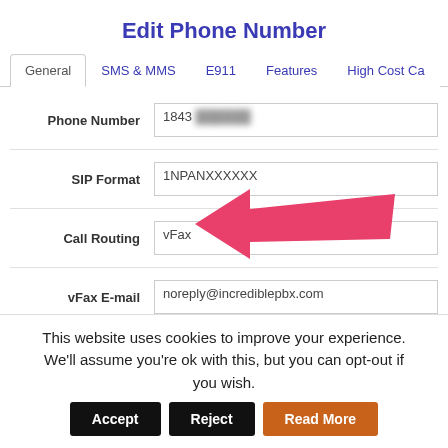Edit Phone Number
[Figure (screenshot): Tab navigation bar with tabs: General (active/selected), SMS & MMS, E911, Features, High Cost Ca]
| Field | Value |
| --- | --- |
| Phone Number | 1843 [redacted] |
| SIP Format | 1NPANXXXXXX |
| Call Routing | vFax |
| vFax E-mail | noreply@incrediblepbx.com |
[Figure (illustration): A large pink/red arrow pointing left toward the vFax value in the Call Routing field]
This website uses cookies to improve your experience. We'll assume you're ok with this, but you can opt-out if you wish. Accept Reject Read More